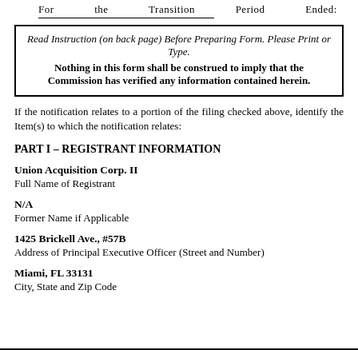For the Transition Period Ended:
Read Instruction (on back page) Before Preparing Form. Please Print or Type.
Nothing in this form shall be construed to imply that the Commission has verified any information contained herein.
If the notification relates to a portion of the filing checked above, identify the Item(s) to which the notification relates:
PART I – REGISTRANT INFORMATION
Union Acquisition Corp. II
Full Name of Registrant
N/A
Former Name if Applicable
1425 Brickell Ave., #57B
Address of Principal Executive Officer (Street and Number)
Miami, FL 33131
City, State and Zip Code